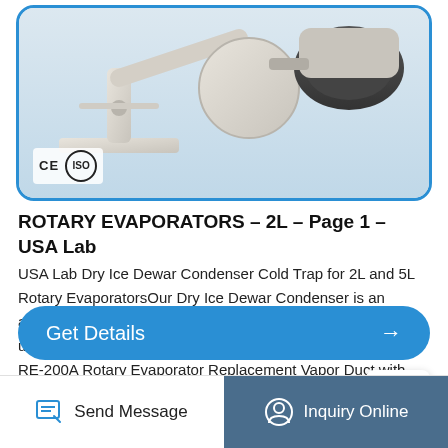[Figure (photo): A rotary evaporator device with cream/white colored body, shown at an angle in a blue-bordered rounded rectangle. CE and ISO certification logos appear in the lower left corner of the image.]
ROTARY EVAPORATORS – 2L – Page 1 – USA Lab
USA Lab Dry Ice Dewar Condenser Cold Trap for 2L and 5L Rotary EvaporatorsOur Dry Ice Dewar Condenser is an alternate method of condensing for people who looking to usMSRP:Was:Now:$295.00 – $345.00. Options. ... Lab. 2L RE-200A Rotary Evaporator Replacement Vapor Duct with Integrated PTFE Seal. Our Replacement Vapor Duct fits into ...
Get Details →
Send Message
Inquiry Online